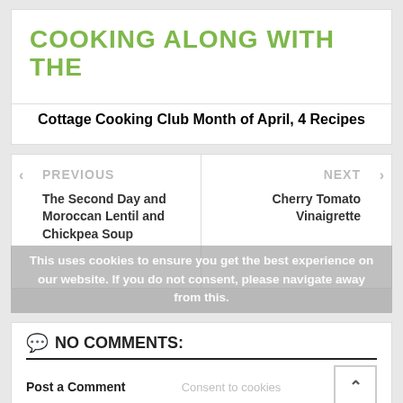COOKING ALONG WITH THE
Cottage Cooking Club Month of April, 4 Recipes
< PREVIOUS
The Second Day and Moroccan Lentil and Chickpea Soup
NEXT >
Cherry Tomato Vinaigrette
This uses cookies to ensure you get the best experience on our website. If you do not consent, please navigate away from this.
NO COMMENTS:
Post a Comment
Consent to cookies
Enter Comment